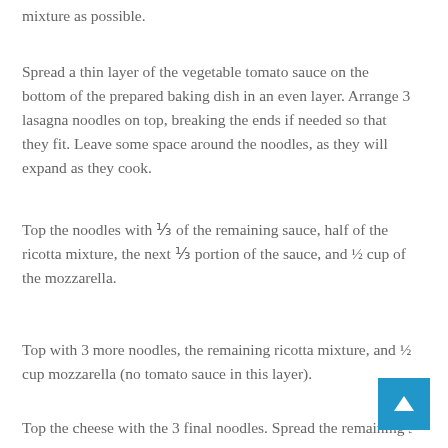mixture as possible.
Spread a thin layer of the vegetable tomato sauce on the bottom of the prepared baking dish in an even layer. Arrange 3 lasagna noodles on top, breaking the ends if needed so that they fit. Leave some space around the noodles, as they will expand as they cook.
Top the noodles with ⅓ of the remaining sauce, half of the ricotta mixture, the next ⅓ portion of the sauce, and ½ cup of the mozzarella.
Top with 3 more noodles, the remaining ricotta mixture, and ½ cup mozzarella (no tomato sauce in this layer).
Top the cheese with the 3 final noodles. Spread the remaining sauce over the top.